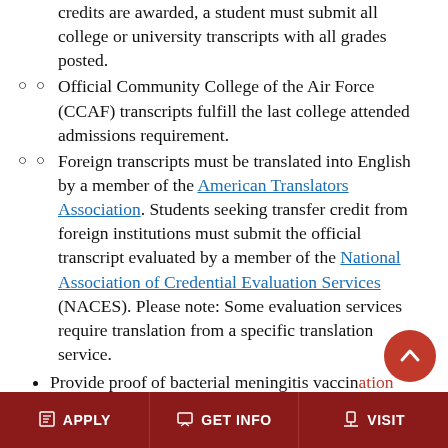credits are awarded, a student must submit all college or university transcripts with all grades posted.
Official Community College of the Air Force (CCAF) transcripts fulfill the last college attended admissions requirement.
Foreign transcripts must be translated into English by a member of the American Translators Association. Students seeking transfer credit from foreign institutions must submit the official transcript evaluated by a member of the National Association of Credential Evaluation Services (NACES). Please note: Some evaluation services require translation from a specific translation service.
Provide proof of bacterial meningitis vaccination
State law requires that entering stude...
APPLY | GET INFO | VISIT